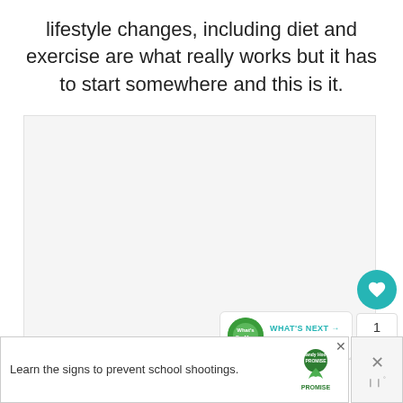lifestyle changes, including diet and exercise are what really works but it has to start somewhere and this is it.
[Figure (other): Large empty/white content area, likely an embedded image or video placeholder in a web article]
[Figure (infographic): UI overlay showing a teal heart/like button, like count '1', and a share button on the right side of the content area]
[Figure (other): What's Next widget showing a circular logo with text 'What's On My...' and a teal arrow label 'WHAT'S NEXT']
[Figure (other): Advertisement banner: 'Learn the signs to prevent school shootings.' with Sandy Hook Promise logo and tree graphic. Close button visible.]